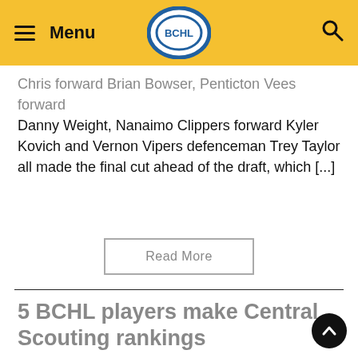Menu | BCHL | Search
Chris forward Brian Bowser, Penticton Vees forward Danny Weight, Nanaimo Clippers forward Kyler Kovich and Vernon Vipers defenceman Trey Taylor all made the final cut ahead of the draft, which [...]
Read More
5 BCHL players make Central Scouting rankings
January 13, 2020
[Figure (photo): Five hockey player headshots in a strip: players wearing various team uniforms including red, dark blue, dark red, orange, and navy.]